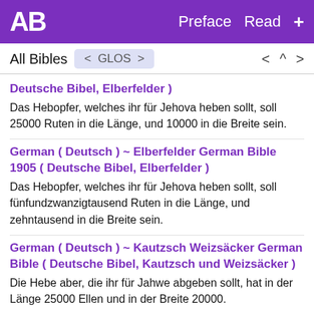AB  Preface  Read  +
All Bibles  < GLOS >  < ^ >
Deutsche Bibel, Elberfelder )
Das Hebopfer, welches ihr für Jehova heben sollt, soll 25000 Ruten in die Länge, und 10000 in die Breite sein.
German ( Deutsch ) ~ Elberfelder German Bible 1905 ( Deutsche Bibel, Elberfelder )
Das Hebopfer, welches ihr für Jehova heben sollt, soll fünfundzwanzigtausend Ruten in die Länge, und zehntausend in die Breite sein.
German ( Deutsch ) ~ Kautzsch Weizsäcker German Bible ( Deutsche Bibel, Kautzsch und Weizsäcker )
Die Hebe aber, die ihr für Jahwe abgeben sollt, hat in der Länge 25000 Ellen und in der Breite 20000.
German ( Deutsch ) ~ Luther German Bible 1545 (